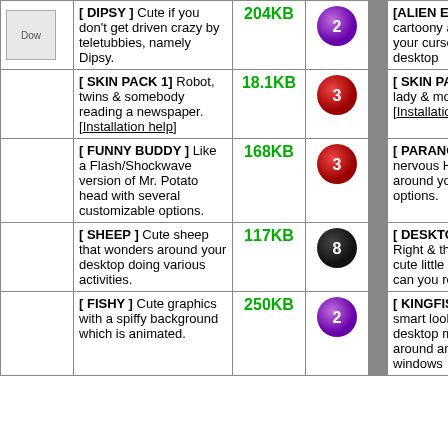| Thumb | Description | Size | Rating | Gap | Right Description |
| --- | --- | --- | --- | --- | --- |
| [Download img] | [ DIPSY ] Cute if you don't get driven crazy by teletubbies, namely Dipsy. | 204KB | 2 |  | [ALIEN EYES] This cute cartoony alien eyes follow your cursor around your desktop |
|  | [ SKIN PACK 1] Robot, twins & somebody reading a newspaper. [Installation help] | 18.1KB | 3 |  | [ SKIN PACK 2] Elephant, lady & monster. [Installation help] |
|  | [ FUNNY BUDDY ] Like a Flash/Shockwave version of Mr. Potato head with several customizable options. | 168KB | 3 |  | [ PARANOID HOMER ] A nervous Homer glances around your desktop. Cool options. |
|  | [ SHEEP ] Cute sheep that wonders around your desktop doing various activities. | 117KB | 8 |  | [ DESKTOP CAR ] Left & Right & that's about it. It's a cute little buggy though, can you resist? |
|  | [ FISHY ] Cute graphics with a spiffy background which is animated. | 250KB | 2 |  | [ KINGFISHER ] A very smart looking kingfisher desktop mate who flies around and lands on your windows |